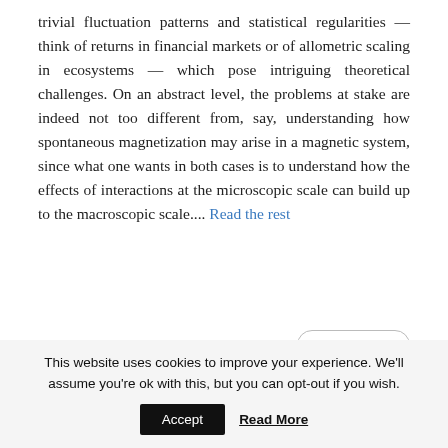trivial fluctuation patterns and statistical regularities — think of returns in financial markets or of allometric scaling in ecosystems — which pose intriguing theoretical challenges. On an abstract level, the problems at stake are indeed not too different from, say, understanding how spontaneous magnetization may arise in a magnetic system, since what one wants in both cases is to understand how the effects of interactions at the microscopic scale can build up to the macroscopic scale.... Read the rest
READ MORE
This website uses cookies to improve your experience. We'll assume you're ok with this, but you can opt-out if you wish.
Accept
Read More